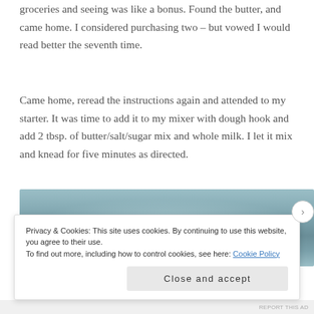groceries and seeing was like a bonus. Found the butter, and came home. I considered purchasing two – but vowed I would read better the seventh time.
Came home, reread the instructions again and attended to my starter. It was time to add it to my mixer with dough hook and add 2 tbsp. of butter/salt/sugar mix and whole milk. I let it mix and knead for five minutes as directed.
[Figure (photo): Close-up photo of a mixing bowl with a bluish-grey toned interior, viewed from slightly above, showing the curved surface of the bowl.]
Privacy & Cookies: This site uses cookies. By continuing to use this website, you agree to their use.
To find out more, including how to control cookies, see here: Cookie Policy
Close and accept
REPORT THIS AD